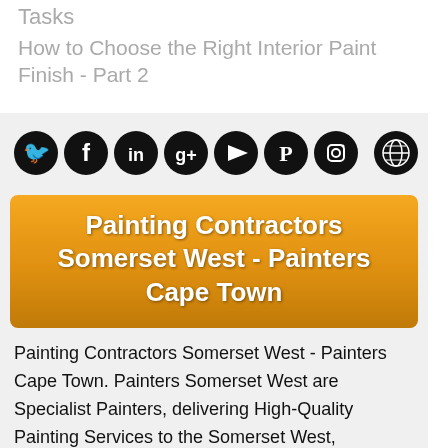Tasks
How to Choose the Right Interior Paint Finish - Part 2
[Figure (infographic): Row of 8 social media icon circles (Twitter, Facebook, LinkedIn, Google+, YouTube, Pinterest, Instagram, Globe/Web) in black with white icons]
Painting Contractors Somerset West - Painters Cape Town
Painting Contractors Somerset West - Painters Cape Town. Painters Somerset West are Specialist Painters, delivering High-Quality Painting Services to the Somerset West, Stellenbosch and Cape Town Southern Suburbs areas. We provide